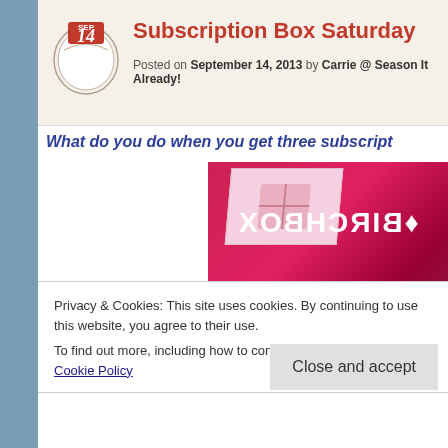Subscription Box Saturday — Posted on September 14, 2013 by Carrie @ Season It Already!
What do you do when you get three subscript
[Figure (photo): Photo of stacked subscription boxes including a pink Birchbox and a LoveWithFood.com box]
Privacy & Cookies: This site uses cookies. By continuing to use this website, you agree to their use.
To find out more, including how to control cookies, see here: Cookie Policy
Close and accept